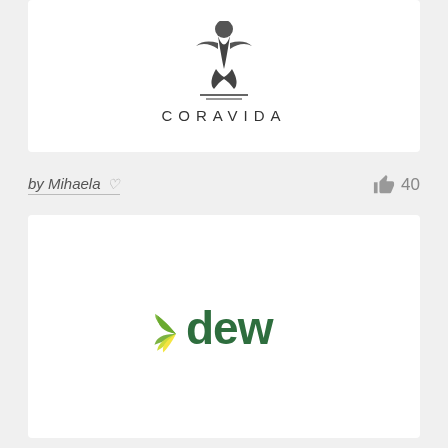[Figure (logo): CORAVIDA logo with stylized bird/mermaid figure above the text CORAVIDA in spaced capital letters]
by Mihaela ♡
40
[Figure (logo): dew logo in dark green rounded letters with a green leaf/plant motif on the left side of the letter d]